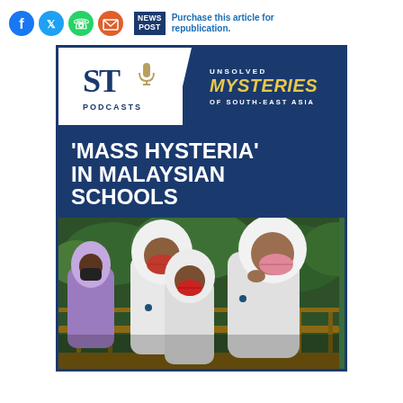[Figure (other): Social media sharing icons: Facebook (blue), Twitter (light blue), WhatsApp (green), Email (orange)]
NEWS POST - Purchase this article for republication.
[Figure (illustration): ST Podcasts logo with microphone icon above text 'UNSOLVED MYSTERIES OF SOUTH-EAST ASIA' on dark blue background, followed by bold white text ''MASS HYSTERIA' IN MALAYSIAN SCHOOLS' and photo of Muslim schoolgirls in white hijabs and face masks walking on a bridge with green trees behind them.]